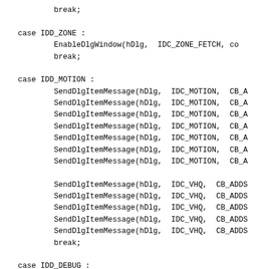break;

    case IDD_ZONE :
            EnableDlgWindow(hDlg, IDC_ZONE_FETCH, co
            break;

    case IDD_MOTION :
            SendDlgItemMessage(hDlg, IDC_MOTION, CB_A
            SendDlgItemMessage(hDlg, IDC_MOTION, CB_A
            SendDlgItemMessage(hDlg, IDC_MOTION, CB_A
            SendDlgItemMessage(hDlg, IDC_MOTION, CB_A
            SendDlgItemMessage(hDlg, IDC_MOTION, CB_A
            SendDlgItemMessage(hDlg, IDC_MOTION, CB_A
            SendDlgItemMessage(hDlg, IDC_MOTION, CB_A

            SendDlgItemMessage(hDlg, IDC_VHQ, CB_ADDS
            SendDlgItemMessage(hDlg, IDC_VHQ, CB_ADDS
            SendDlgItemMessage(hDlg, IDC_VHQ, CB_ADDS
            SendDlgItemMessage(hDlg, IDC_VHQ, CB_ADDS
            SendDlgItemMessage(hDlg, IDC_VHQ, CB_ADDS
            break;

    case IDD_DEBUG :
            /* force threads disabled */
            EnableWindow(GetDlgItem(hDlg, IDC_NUMTHRE
            EnableWindow(GetDlgItem(hDlg, IDC_NUMTHRE

            SendDlgItemMessage(hDlg, IDC_FOURCC, CB_A
            SendDlgItemMessage(hDlg, IDC_FOURCC, CB_A
            SendDlgItemMessage(hDlg, IDC_FOURCC, CB_A